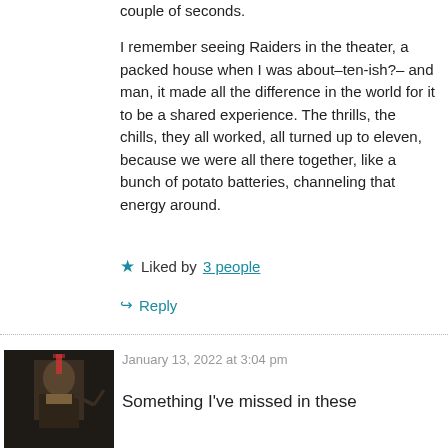couple of seconds.
I remember seeing Raiders in the theater, a packed house when I was about–ten-ish?– and man, it made all the difference in the world for it to be a shared experience. The thrills, the chills, they all worked, all turned up to eleven, because we were all there together, like a bunch of potato batteries, channeling that energy around.
★ Liked by 3 people
↪ Reply
January 13, 2022 at 3:04 pm
Something I've missed in these